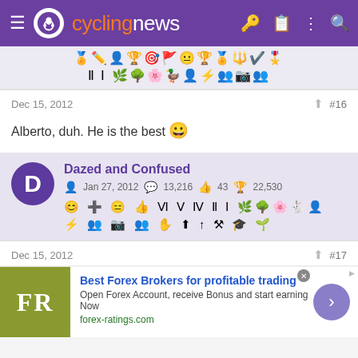cyclingnews
[Figure (screenshot): Row of small cycling achievement/badge icons from a previous forum post]
Dec 15, 2012  #16
Alberto, duh. He is the best 😀
Dazed and Confused  Jan 27, 2012  13,216  43  22,530
[Figure (screenshot): Row of cycling forum achievement badge icons for user Dazed and Confused]
Dec 15, 2012  #17
[Figure (screenshot): Advertisement: Best Forex Brokers for profitable trading - forex-ratings.com]